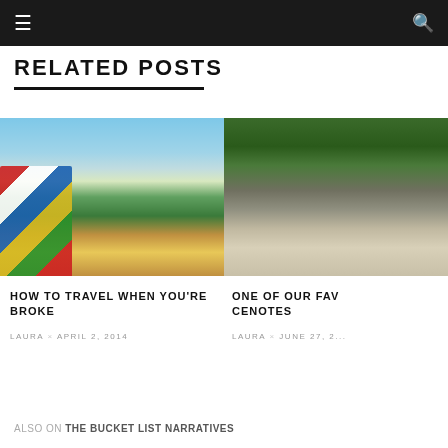≡  🔍
RELATED POSTS
[Figure (photo): Aerial view of a river/lake with colorful umbrellas in foreground and lush greenery]
HOW TO TRAVEL WHEN YOU'RE BROKE
LAURA × APRIL 2, 2014
[Figure (photo): Two people with an ATV in a jungle/cenote setting]
ONE OF OUR FAV CENOTES
LAURA × JUNE 27, 2...
ALSO ON THE BUCKET LIST NARRATIVES